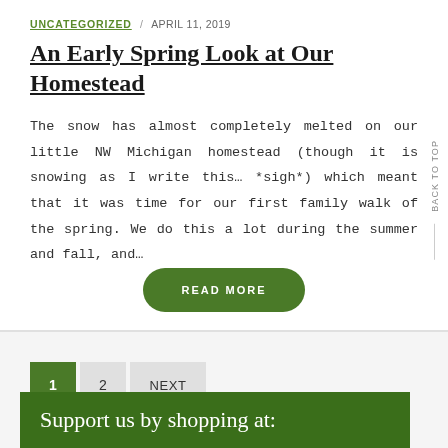UNCATEGORIZED / APRIL 11, 2019
An Early Spring Look at Our Homestead
The snow has almost completely melted on our little NW Michigan homestead (though it is snowing as I write this… *sigh*) which meant that it was time for our first family walk of the spring. We do this a lot during the summer and fall, and…
READ MORE
1  2  NEXT
Support us by shopping at: